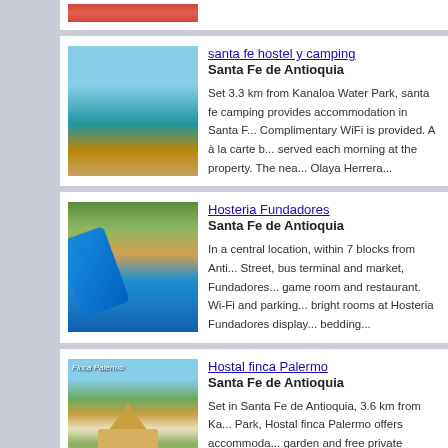[Figure (photo): Partial hotel listing image at top]
santa fe hostel y camping
Santa Fe de Antioquia
Set 3.3 km from Kanaloa Water Park, santa fe camping provides accommodation in Santa F... Complimentary WiFi is provided. A à la carte b... served each morning at the property. The nea... Olaya Herrera...
Hosteria Fundadores
Santa Fe de Antioquia
In a central location, within 7 blocks from Anti... Street, bus terminal and market, Fundadores... game room and restaurant. Wi-Fi and parking... bright rooms at Hosteria Fundadores display... bedding...
Hostal finca Palermo
Santa Fe de Antioquia
Set in Santa Fe de Antioquia, 3.6 km from Ka... Park, Hostal finca Palermo offers accommoda... garden and free private parking. The quest...